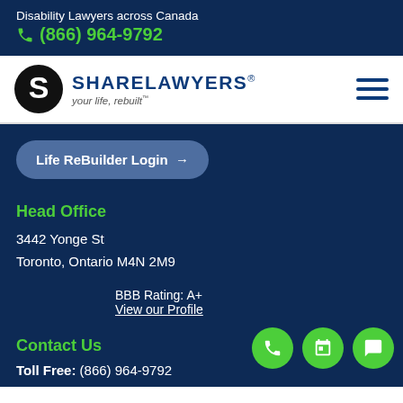Disability Lawyers across Canada
(866) 964-9792
[Figure (logo): Share Lawyers logo with circular S icon and text SHARELAWYERS your life, rebuilt]
Life ReBuilder Login →
Head Office
3442 Yonge St
Toronto, Ontario M4N 2M9
BBB Rating: A+
View our Profile
Contact Us
Toll Free: (866) 964-9792